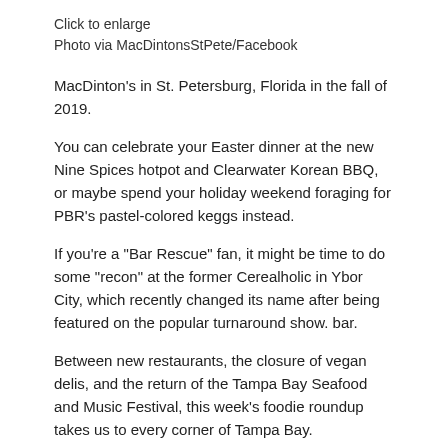Click to enlarge
Photo via MacDintonsStPete/Facebook
MacDinton’s in St. Petersburg, Florida in the fall of 2019.
You can celebrate your Easter dinner at the new Nine Spices hotpot and Clearwater Korean BBQ, or maybe spend your holiday weekend foraging for PBR’s pastel-colored keggs instead.
If you’re a “Bar Rescue” fan, it might be time to do some “recon” at the former Cerealholic in Ybor City, which recently changed its name after being featured on the popular turnaround show. bar.
Between new restaurants, the closure of vegan delis, and the return of the Tampa Bay Seafood and Music Festival, this week’s foodie roundup takes us to every corner of Tampa Bay.
Openings
nine spices According to its Facebook page, Nine Spices’ new Clearwater location celebrated its grand opening on Wednesday,